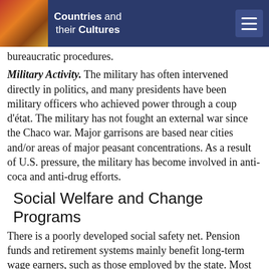Countries and their Cultures
bureaucratic procedures.
Military Activity. The military has often intervened directly in politics, and many presidents have been military officers who achieved power through a coup d'état. The military has not fought an external war since the Chaco war. Major garrisons are based near cities and/or areas of major peasant concentrations. As a result of U.S. pressure, the military has become involved in anti-coca and anti-drug efforts.
Social Welfare and Change Programs
There is a poorly developed social safety net. Pension funds and retirement systems mainly benefit long-term wage earners, such as those employed by the state. Most Bolivians work in agriculture or the informal economy, sectors poorly covered by social welfare and security programs, and most rely on relatives for assistance during old age and in times of